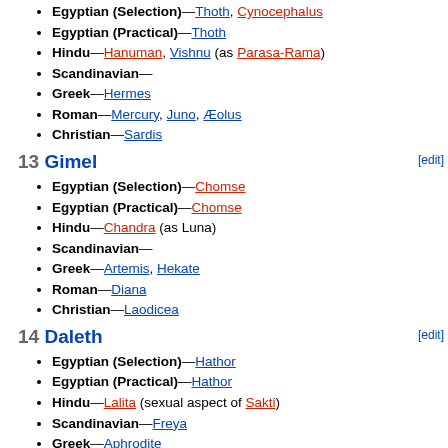Egyptian (Selection)—Thoth, Cynocephalus
Egyptian (Practical)—Thoth
Hindu—Hanuman, Vishnu (as Parasa-Rama)
Scandinavian—
Greek—Hermes
Roman—Mercury, Juno, Æolus
Christian—Sardis
13 Gimel
Egyptian (Selection)—Chomse
Egyptian (Practical)—Chomse
Hindu—Chandra (as Luna)
Scandinavian—
Greek—Artemis, Hekate
Roman—Diana
Christian—Laodicea
14 Daleth
Egyptian (Selection)—Hathor
Egyptian (Practical)—Hathor
Hindu—Lalita (sexual aspect of Sakti)
Scandinavian—Freya
Greek—Aphrodite
Roman—Venus
Christian—Thyatira